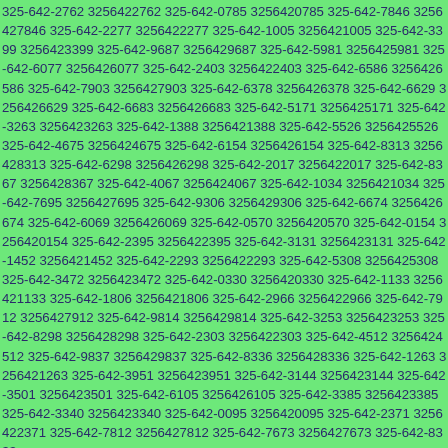325-642-2762 3256422762 325-642-0785 3256420785 325-642-7846 3256427846 325-642-2277 3256422277 325-642-1005 3256421005 325-642-3399 3256423399 325-642-9687 3256429687 325-642-5981 3256425981 325-642-6077 3256426077 325-642-2403 3256422403 325-642-6586 3256426586 325-642-7903 3256427903 325-642-6378 3256426378 325-642-6629 3256426629 325-642-6683 3256426683 325-642-5171 3256425171 325-642-3263 3256423263 325-642-1388 3256421388 325-642-5526 3256425526 325-642-4675 3256424675 325-642-6154 3256426154 325-642-8313 3256428313 325-642-6298 3256426298 325-642-2017 3256422017 325-642-8367 3256428367 325-642-4067 3256424067 325-642-1034 3256421034 325-642-7695 3256427695 325-642-9306 3256429306 325-642-6674 3256426674 325-642-6069 3256426069 325-642-0570 3256420570 325-642-0154 3256420154 325-642-2395 3256422395 325-642-3131 3256423131 325-642-1452 3256421452 325-642-2293 3256422293 325-642-5308 3256425308 325-642-3472 3256423472 325-642-0330 3256420330 325-642-1133 3256421133 325-642-1806 3256421806 325-642-2966 3256422966 325-642-7912 3256427912 325-642-9814 3256429814 325-642-3253 3256423253 325-642-8298 3256428298 325-642-2303 3256422303 325-642-4512 3256424512 325-642-9837 3256429837 325-642-8336 3256428336 325-642-1263 3256421263 325-642-3951 3256423951 325-642-3144 3256423144 325-642-3501 3256423501 325-642-6105 3256426105 325-642-3385 3256423385 325-642-3340 3256423340 325-642-0095 3256420095 325-642-2371 3256422371 325-642-7812 3256427812 325-642-7673 3256427673 325-642-8333